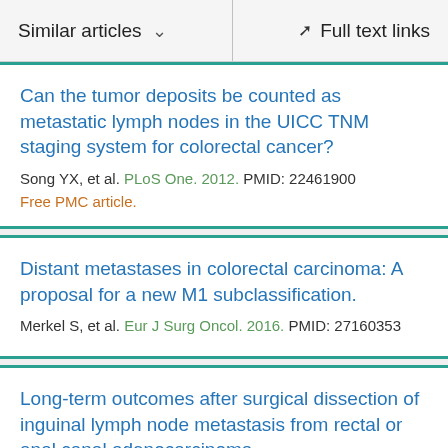Similar articles  ∨   Full text links
Can the tumor deposits be counted as metastatic lymph nodes in the UICC TNM staging system for colorectal cancer?
Song YX, et al. PLoS One. 2012. PMID: 22461900
Free PMC article.
Distant metastases in colorectal carcinoma: A proposal for a new M1 subclassification.
Merkel S, et al. Eur J Surg Oncol. 2016. PMID: 27160353
Long-term outcomes after surgical dissection of inguinal lymph node metastasis from rectal or anal canal adenocarcinoma.
Tanabe T, et al. BMC Cancer. 2019. PMID: 31340778
Free PMC article.